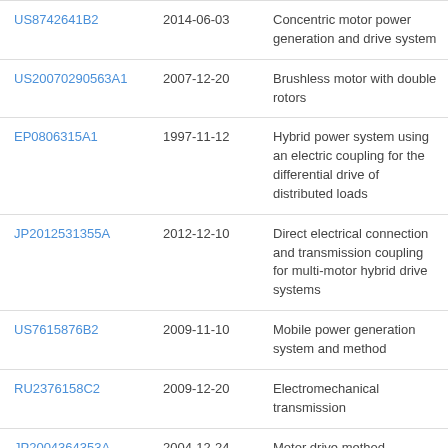| Patent ID | Date | Title |
| --- | --- | --- |
| US8742641B2 | 2014-06-03 | Concentric motor power generation and drive system |
| US20070290563A1 | 2007-12-20 | Brushless motor with double rotors |
| EP0806315A1 | 1997-11-12 | Hybrid power system using an electric coupling for the differential drive of distributed loads |
| JP2012531355A | 2012-12-10 | Direct electrical connection and transmission coupling for multi-motor hybrid drive systems |
| US7615876B2 | 2009-11-10 | Mobile power generation system and method |
| RU2376158C2 | 2009-12-20 | Electromechanical transmission |
| JP2004364353A | 2004-12-24 | Motor drive method |